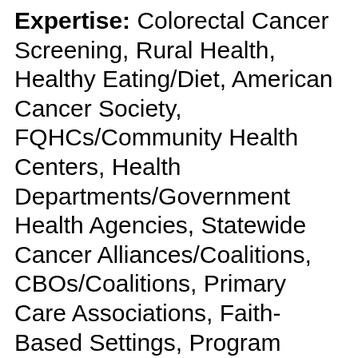Expertise: Colorectal Cancer Screening, Rural Health, Healthy Eating/Diet, American Cancer Society, FQHCs/Community Health Centers, Health Departments/Government Health Agencies, Statewide Cancer Alliances/Coalitions, CBOs/Coalitions, Primary Care Associations, Faith-Based Settings, Program Evaluation, Community Engagement and CBPR, 2-1-1s, Tobacco Prevention and Cessation (Inclusion of Non-Tobacco Products (ENDS)), Implementation Science, Intervention Development and Testing, Qualitative Methods/Configurational